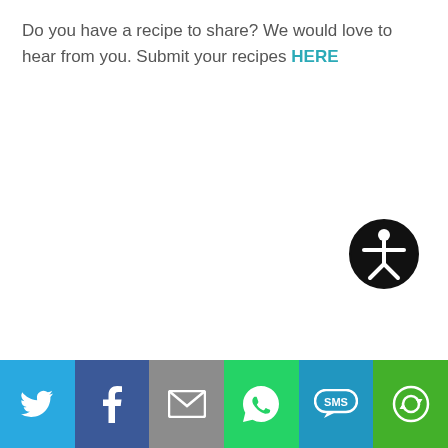Do you have a recipe to share? We would love to hear from you. Submit your recipes HERE
[Figure (illustration): Accessibility icon — a circular black badge with a white stick figure person with arms outstretched]
[Figure (infographic): Footer social sharing bar with six colored buttons: Twitter (blue bird icon), Facebook (dark blue f icon), Email (grey envelope icon), WhatsApp (green speech bubble phone icon), SMS (light blue SMS badge icon), Share/other (green circular arrows icon)]